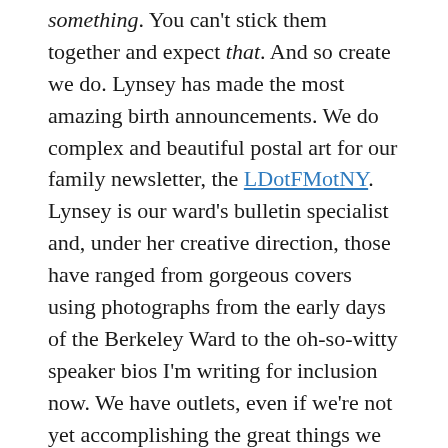something. You can't stick them together and expect that. And so create we do. Lynsey has made the most amazing birth announcements. We do complex and beautiful postal art for our family newsletter, the LDotFMotNY. Lynsey is our ward's bulletin specialist and, under her creative direction, those have ranged from gorgeous covers using photographs from the early days of the Berkeley Ward to the oh-so-witty speaker bios I'm writing for inclusion now. We have outlets, even if we're not yet accomplishing the great things we intend to.
Because, let's be frank, having kids makes it hard.